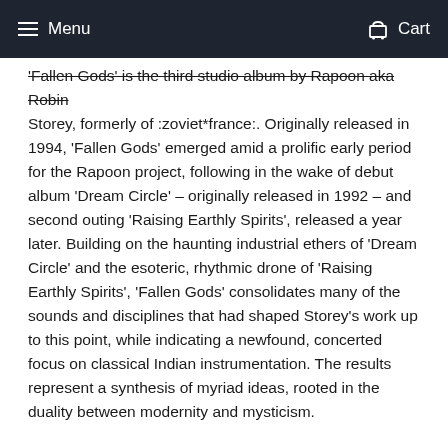Menu  Cart
'Fallen Gods' is the third studio album by Rapoon aka Robin Storey, formerly of :zoviet*france:. Originally released in 1994, 'Fallen Gods' emerged amid a prolific early period for the Rapoon project, following in the wake of debut album 'Dream Circle' – originally released in 1992 – and second outing 'Raising Earthly Spirits', released a year later. Building on the haunting industrial ethers of 'Dream Circle' and the esoteric, rhythmic drone of 'Raising Earthly Spirits', 'Fallen Gods' consolidates many of the sounds and disciplines that had shaped Storey's work up to this point, while indicating a newfound, concerted focus on classical Indian instrumentation. The results represent a synthesis of myriad ideas, rooted in the duality between modernity and mysticism.
Throughout 'Fallen Gods' the reverberant pulse of Tabla-led percussion and the remote tones of what sounds like the Bulbul tarang (aka Indian banjo) resound and repeat in locked instrumental cycles, as vast, atmospheric shadows and echoes are unfurled. On 'Sanctum' Storey creates a mesmeric